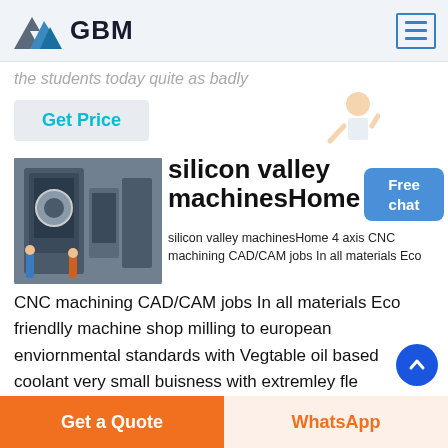GBM
the students today quite as badly
Get Price
silicon valley machinesHome
silicon valley machinesHome 4 axis CNC machining CAD/CAM jobs In all materials Eco friendlly machine shop milling to european enviornmental standards with Vegtable oil based coolant very small buisness with extremley fle
Get a Quote
WhatsApp